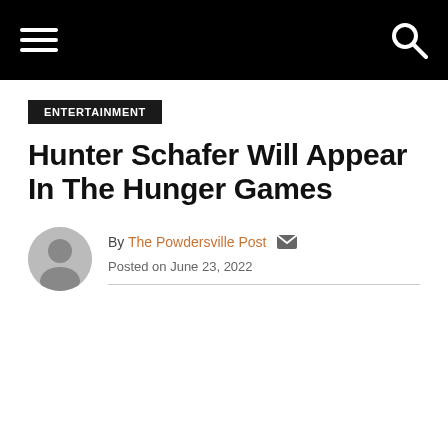ENTERTAINMENT
Hunter Schafer Will Appear In The Hunger Games
By The Powdersville Post
Posted on June 23, 2022